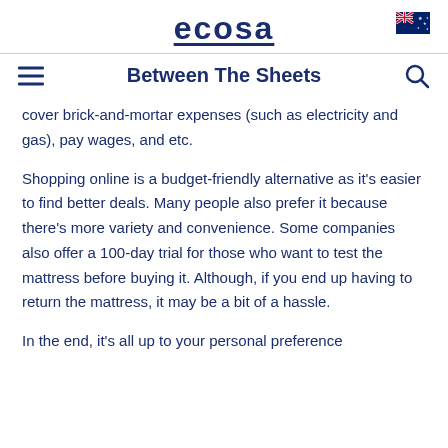ecosa
Between The Sheets
cover brick-and-mortar expenses (such as electricity and gas), pay wages, and etc.
Shopping online is a budget-friendly alternative as it's easier to find better deals. Many people also prefer it because there's more variety and convenience. Some companies also offer a 100-day trial for those who want to test the mattress before buying it. Although, if you end up having to return the mattress, it may be a bit of a hassle.
In the end, it's all up to your personal preference